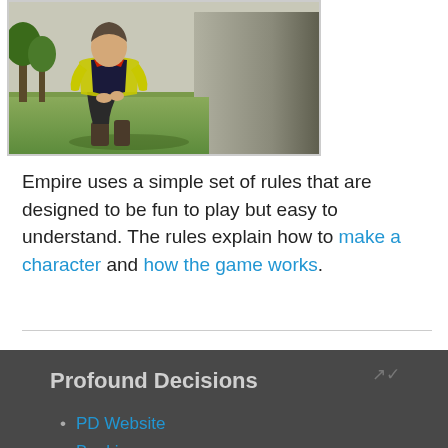[Figure (photo): Person crouching beside a large stone or concrete structure outdoors, wearing a yellow jacket and dark trousers.]
Empire uses a simple set of rules that are designed to be fun to play but easy to understand. The rules explain how to make a character and how the game works.
Profound Decisions
PD Website
Booking
Contact us